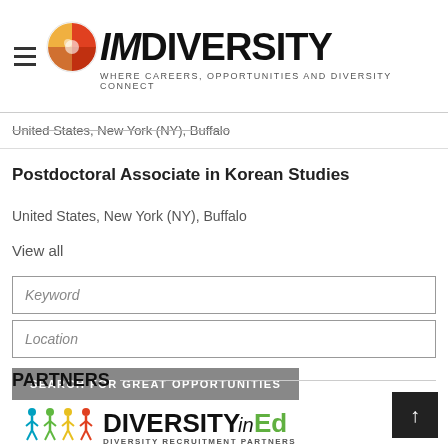IMDiversity — Where Careers, Opportunities and Diversity Connect
United States, New York (NY), Buffalo
Postdoctoral Associate in Korean Studies
United States, New York (NY), Buffalo
View all
Keyword
Location
SEARCH FOR GREAT OPPORTUNITIES
PARTNERS
[Figure (logo): DiversityInEd — Diversity Recruitment Partners logo with colorful figure icons]